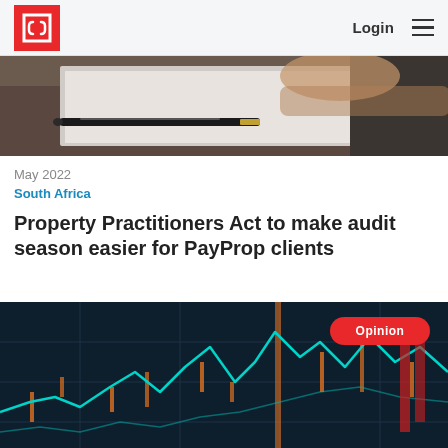Login
[Figure (photo): Partial top-cropped image of a pen lying on a desk with papers, dark brown wooden surface, person's hands visible in background]
May 2022
South Africa
Property Practitioners Act to make audit season easier for PayProp clients
[Figure (photo): Stock market financial chart with teal/cyan line graph on dark navy background, orange candlestick marks, with a red Opinion badge overlay in the top right]